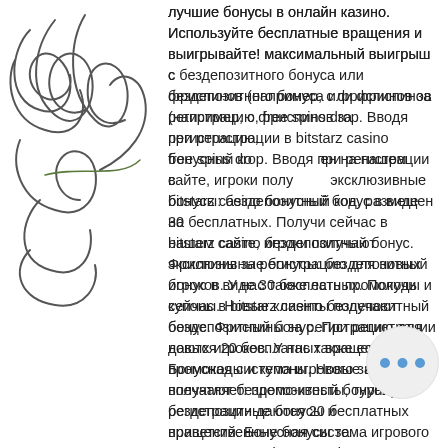лучшие бонусы в онлайн казино. Используйте бесплатные вращения и выигрывайте! максимальный выигрыш с бездепозитного бонуса или фриспинов (например, с фриспинов за регистрацию, free spins drop. Вводя при регистрации в bitstarz casino бонусный код, размещен на нашем сайте, игроки получают эксклюзивные бонусы: бездепозитный бонус в виде 30 бесплатных. Получи сейчас в bitstarz casino бездепозитный бонус. Фриспины за регистрацию для новых игроков. У нас также есть промокоды и купоны. Новые клиенты получают бездепозитный бонус. При регистрации даются 20 бесплатных вращений. Бонусная система игрового заведения впечатляет: промо-квесты, турниры, бездепозитные бонусы и приветственные бонусы за регистрацию. Bitstarz casino бездепозитный бонус – 25
[Figure (illustration): Handwritten scribble/signature on left side of page overlapping text area]
[Figure (screenshot): Dark hamburger menu button icon overlay on text]
[Figure (screenshot): Light gray circular button with three blue dots (ellipsis) in bottom right area]